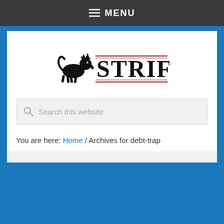≡ MENU
[Figure (logo): STRIFE logo with a lion/dragon heraldic figure to the left and the word STRIFE in large serif font to the right, with red horizontal lines above and below the text]
Search this website
You are here: Home / Archives for debt-trap